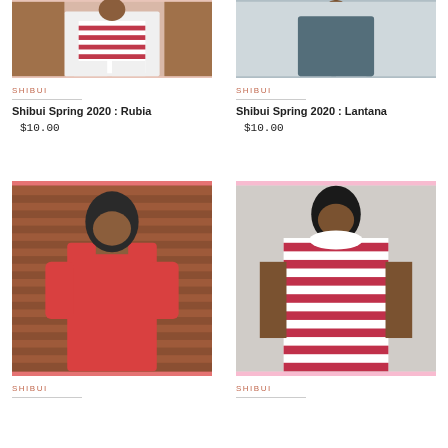[Figure (photo): Woman wearing red and white striped top with white pants and open white jacket]
SHIBUI
Shibui Spring 2020 : Rubia
$10.00
[Figure (photo): Woman wearing dark gray/slate asymmetric top with white pants]
SHIBUI
Shibui Spring 2020 : Lantana
$10.00
[Figure (photo): Woman in red short-sleeve knit dress smiling]
SHIBUI
[Figure (photo): Woman wearing red and white striped sleeveless top smiling]
SHIBUI